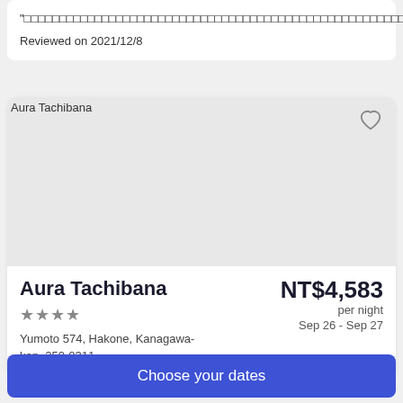"□□□□□□□□□□□□□□□□□□□□□□□□□□□□□□□□□□□□□□□□□□□□□□□□□□□□□□□□□□□□□□□□□□□□□□□□□□□□□□□□□□□□□□□□□□"
Reviewed on 2021/12/8
[Figure (photo): Hotel listing card for Aura Tachibana showing broken image placeholder, heart/favorite icon, hotel name, 3-star rating, address, price NT$4,583 per night for Sep 26 - Sep 27]
Aura Tachibana
★★★☆
Yumoto 574, Hakone, Kanagawa-ken, 250-0311
NT$4,583 per night Sep 26 - Sep 27
4.3/5 Excellent! (229 reviews)
Choose your dates